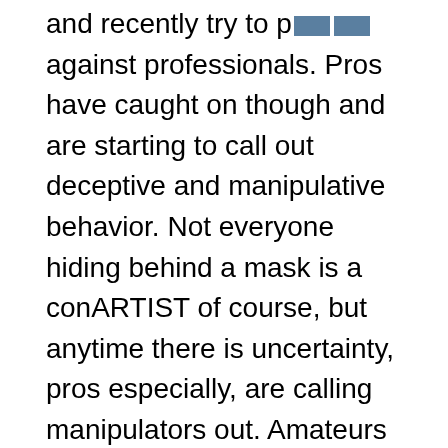and recently try to pit themselves against professionals. Pros have caught on though and are starting to call out deceptive and manipulative behavior. Not everyone hiding behind a mask is a conARTIST of course, but anytime there is uncertainty, pros especially, are calling manipulators out. Amateurs also need to step up.
Allegations about @Beanimaxi and @DigitalArtChick being deceptive and manipulative have been levelled against the two in an effort to determine who pays them. Beanie, in a tweet below admitted they covertly